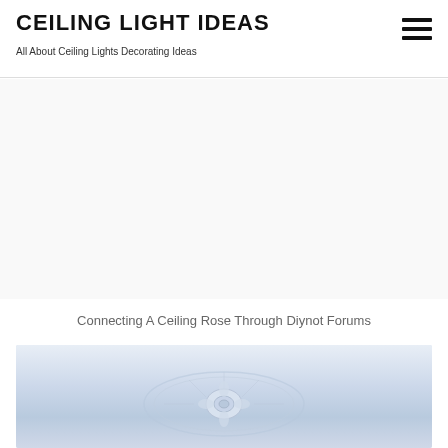CEILING LIGHT IDEAS
All About Ceiling Lights Decorating Ideas
[Figure (other): Advertisement/blank area below site header]
Connecting A Ceiling Rose Through Diynot Forums
[Figure (photo): Photo of a white ornate ceiling rose fitting, viewed from below, with decorative scroll patterns, on a light blue-white background]